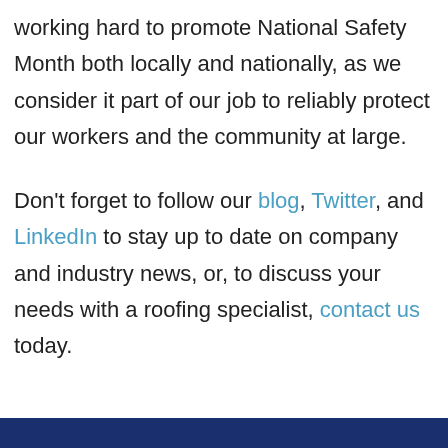working hard to promote National Safety Month both locally and nationally, as we consider it part of our job to reliably protect our workers and the community at large.
Don't forget to follow our blog, Twitter, and LinkedIn to stay up to date on company and industry news, or, to discuss your needs with a roofing specialist, contact us today.